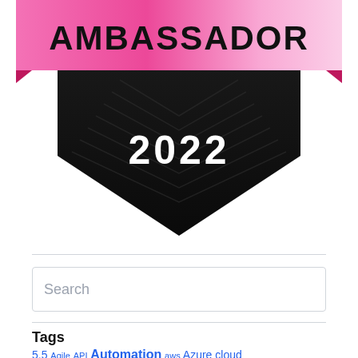[Figure (logo): Ambassador 2022 badge: pink ribbon banner with 'AMBASSADOR' text on top, black downward-pointing pentagon shape with '2022' text and decorative chevron pattern]
Search
Tags
5.5 Automation aws Azure cloud